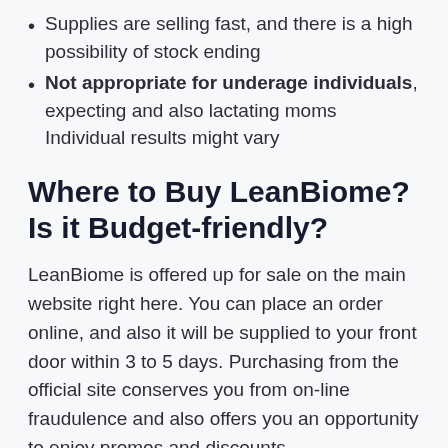Supplies are selling fast, and there is a high possibility of stock ending
Not appropriate for underage individuals, expecting and also lactating moms Individual results might vary
Where to Buy LeanBiome? Is it Budget-friendly?
LeanBiome is offered up for sale on the main website right here. You can place an order online, and also it will be supplied to your front door within 3 to 5 days. Purchasing from the official site conserves you from on-line fraudulence and also offers you an opportunity to enjoy promos and discounts.